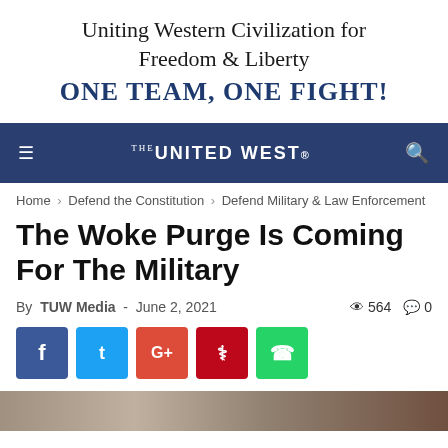Uniting Western Civilization for Freedom & Liberty
ONE TEAM, ONE FIGHT!
[Figure (logo): The United West navigation bar with hamburger menu and search icon]
Home › Defend the Constitution › Defend Military & Law Enforcement
The Woke Purge Is Coming For The Military
By TUW Media - June 2, 2021  👁 564  💬 0
[Figure (infographic): Social media share buttons: Facebook, Twitter, Google+, Pinterest, WhatsApp]
[Figure (photo): Partial bottom image visible at bottom of page]